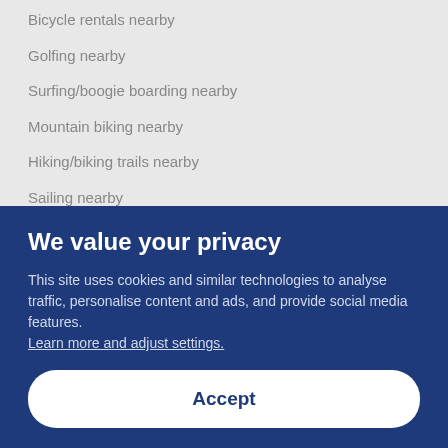Bicycle rentals nearby
Golfing nearby
Surfing/boogie boarding nearby
Mountain biking nearby
Hiking/biking trails nearby
Sailing nearby
Scooter/moped rentals nearby
Accessibility
If you have any requests for specific accessibility needs, please contact the property using the information on the reservation confirmation received after booking.
We value your privacy
This site uses cookies and similar technologies to analyse traffic, personalise content and ads, and provide social media features. Learn more and adjust settings.
Accept